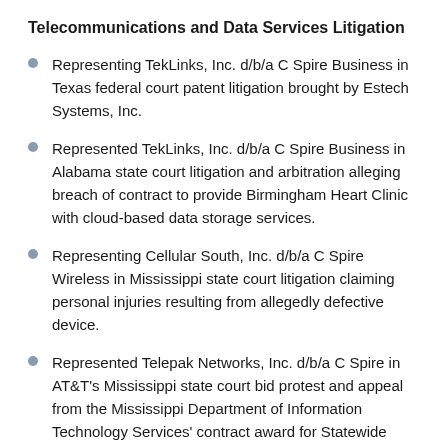Telecommunications and Data Services Litigation
Representing TekLinks, Inc. d/b/a C Spire Business in Texas federal court patent litigation brought by Estech Systems, Inc.
Represented TekLinks, Inc. d/b/a C Spire Business in Alabama state court litigation and arbitration alleging breach of contract to provide Birmingham Heart Clinic with cloud-based data storage services.
Representing Cellular South, Inc. d/b/a C Spire Wireless in Mississippi state court litigation claiming personal injuries resulting from allegedly defective device.
Represented Telepak Networks, Inc. d/b/a C Spire in AT&T's Mississippi state court bid protest and appeal from the Mississippi Department of Information Technology Services' contract award for Statewide Telecommunications Services to C Spire.
Represented TekLinks and/or C Spire Business...